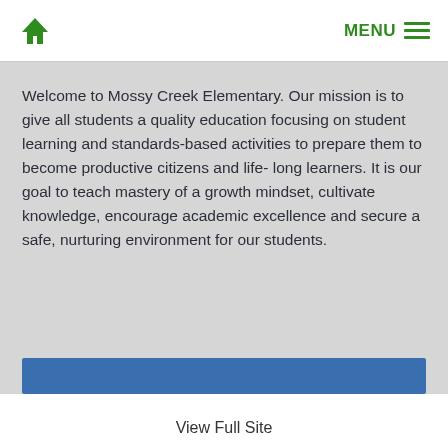Home | MENU
Welcome to Mossy Creek Elementary. Our mission is to give all students a quality education focusing on student learning and standards-based activities to prepare them to become productive citizens and life- long learners. It is our goal to teach mastery of a growth mindset, cultivate knowledge, encourage academic excellence and secure a safe, nurturing environment for our students.
View Full Site